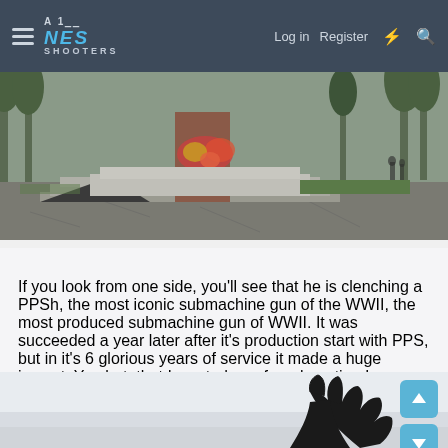NES SHOOTERS — Log in | Register
[Figure (photo): Outdoor war memorial monument with steps, stone structure, and flowers, surrounded by trees and a paved plaza]
If you look from one side, you'll see that he is clenching a PPSh, the most iconic submachine gun of the WWII, the most produced submachine gun of WWII. It was succeeded a year later after it's production start with PPS, but in it's 6 glorious years of service it made a huge impact. You bet, that I wanted one for a long time!
[Figure (photo): Partial view of a dark-gloved hand reaching upward, likely part of a statue or monument]